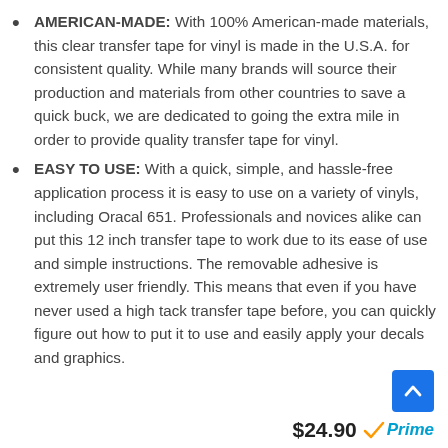AMERICAN-MADE: With 100% American-made materials, this clear transfer tape for vinyl is made in the U.S.A. for consistent quality. While many brands will source their production and materials from other countries to save a quick buck, we are dedicated to going the extra mile in order to provide quality transfer tape for vinyl.
EASY TO USE: With a quick, simple, and hassle-free application process it is easy to use on a variety of vinyls, including Oracal 651. Professionals and novices alike can put this 12 inch transfer tape to work due to its ease of use and simple instructions. The removable adhesive is extremely user friendly. This means that even if you have never used a high tack transfer tape before, you can quickly figure out how to put it to use and easily apply your decals and graphics.
$24.90 Prime